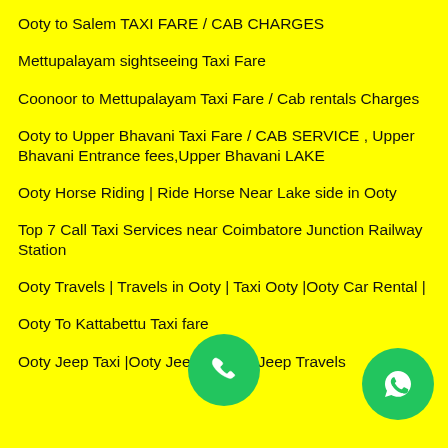Ooty to Salem TAXI FARE / CAB CHARGES
Mettupalayam sightseeing Taxi Fare
Coonoor to Mettupalayam Taxi Fare / Cab rentals Charges
Ooty to Upper Bhavani Taxi Fare / CAB SERVICE , Upper Bhavani Entrance fees,Upper Bhavani LAKE
Ooty Horse Riding | Ride Horse Near Lake side in Ooty
Top 7 Call Taxi Services near Coimbatore Junction Railway Station
Ooty Travels | Travels in Ooty | Taxi Ooty |Ooty Car Rental |
Ooty To Kattabettu Taxi fare
Ooty Jeep Taxi |Ooty Jeep ... Ooty Jeep Travels
[Figure (illustration): Green circular phone call button icon at bottom center]
[Figure (illustration): Green circular WhatsApp icon button at bottom right]